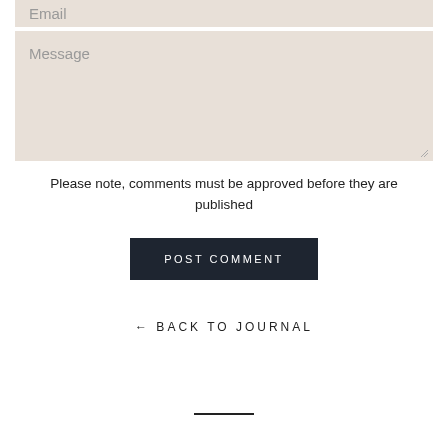Email
Message
Please note, comments must be approved before they are published
POST COMMENT
← BACK TO JOURNAL